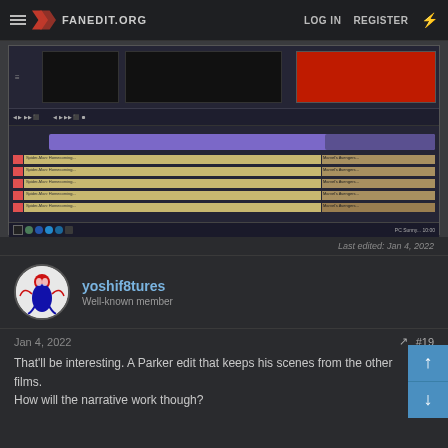FANEDIT.ORG  LOG IN  REGISTER
[Figure (screenshot): Video editing software screenshot showing timeline with Spider-Man Homecoming footage tracks, purple and tan colored timeline segments, preview windows]
Last edited: Jan 4, 2022
yoshif8tures
Well-known member
Jan 4, 2022
#19
That'll be interesting. A Parker edit that keeps his scenes from the other films.
How will the narrative work though?